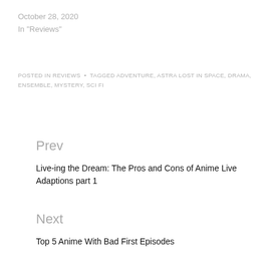October 28, 2020
In "Reviews"
POSTED IN REVIEWS  •  TAGGED ADVENTURE, ASTRA LOST IN SPACE, DRAMA, ENSEMBLE, MYSTERY, SCI FI
Prev
Live-ing the Dream: The Pros and Cons of Anime Live Adaptions part 1
Next
Top 5 Anime With Bad First Episodes